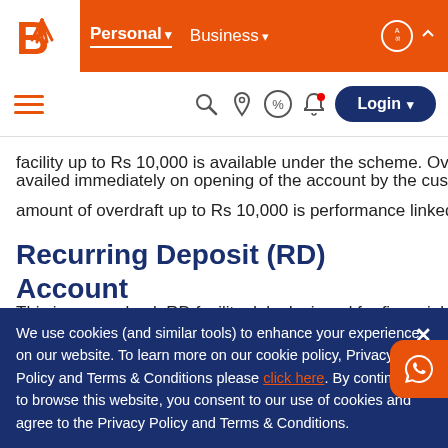[Figure (screenshot): Bank website top navigation bar with orange background, bank logo (white shell/fan shape on white background), Personal and Business navigation links, and right-side icons including globe/language selector]
[Figure (screenshot): Secondary navigation bar with hamburger menu, search, location, percent, bell notification icons, and Login button]
facility up to Rs 10,000 is available under the scheme. Overdraft availed immediately on opening of the account by the customer. amount of overdraft up to Rs 10,000 is performance linked.
Recurring Deposit (RD) Account
This is money back RD facility duly designed for financial inclusion to provide liquidity. The product offers money back facility helping an amount equivalent to 50.0% of the outstanding credit balance
We use cookies (and similar tools) to enhance your experience on our website. To learn more on our cookie policy, Privacy Policy and Terms & Conditions please click here. By continuing to browse this website, you consent to our use of cookies and agree to the Privacy Policy and Terms & Conditions.
This product is for farmers which covers their needs like pro